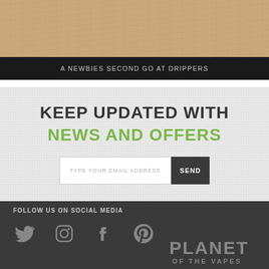[Figure (photo): Wood texture background image with warm brown tones]
A NEWBIES SECOND GO AT DRIPPERS
KEEP UPDATED WITH
NEWS AND OFFERS
TYPE YOUR EMAIL ADDRESS
SEND
FOLLOW US ON SOCIAL MEDIA
[Figure (logo): Social media icons: Twitter, Instagram, Facebook, Pinterest]
[Figure (logo): Planet of the Vapes logo in grey]